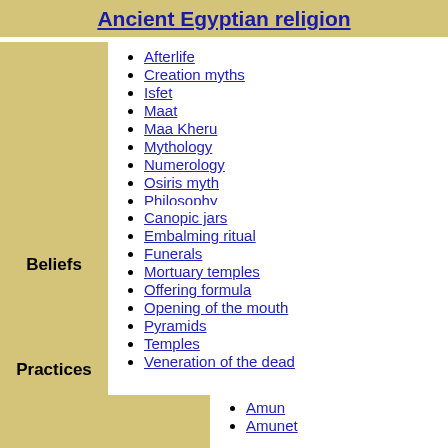Ancient Egyptian religion
Beliefs
Afterlife
Creation myths
Isfet
Maat
Maa Kheru
Mythology
Numerology
Osiris myth
Philosophy
Soul
Practices
Canopic jars
Embalming ritual
Funerals
Mortuary temples
Offering formula
Opening of the mouth
Pyramids
Temples
Veneration of the dead
Amun
Amunet